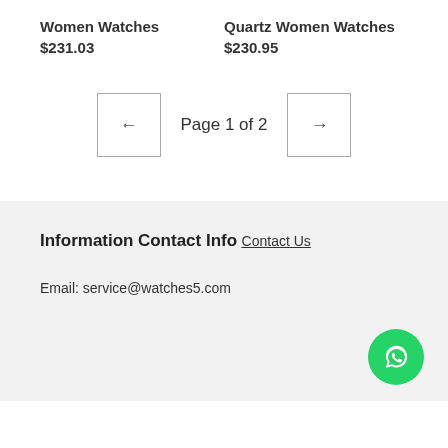Women Watches
$231.03
Quartz Women Watches
$230.95
Page 1 of 2
Information
Contact Info
Contact Us
Email: service@watches5.com